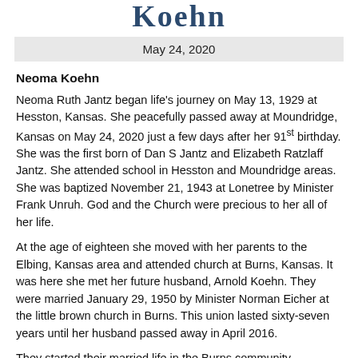Koehn
May 24, 2020
Neoma Koehn
Neoma Ruth Jantz began life's journey on May 13, 1929 at Hesston, Kansas. She peacefully passed away at Moundridge, Kansas on May 24, 2020 just a few days after her 91st birthday. She was the first born of Dan S Jantz and Elizabeth Ratzlaff Jantz. She attended school in Hesston and Moundridge areas. She was baptized November 21, 1943 at Lonetree by Minister Frank Unruh. God and the Church were precious to her all of her life.
At the age of eighteen she moved with her parents to the Elbing, Kansas area and attended church at Burns, Kansas. It was here she met her future husband, Arnold Koehn. They were married January 29, 1950 by Minister Norman Eicher at the little brown church in Burns. This union lasted sixty-seven years until her husband passed away in April 2016.
They started their married life in the Burns community